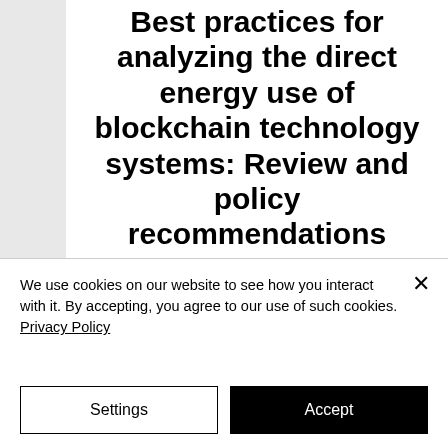Best practices for analyzing the direct energy use of blockchain technology systems: Review and policy recommendations
Nuoa Lei, Eric Masanet, Jonathan Koomey
We use cookies on our website to see how you interact with it. By accepting, you agree to our use of such cookies. Privacy Policy